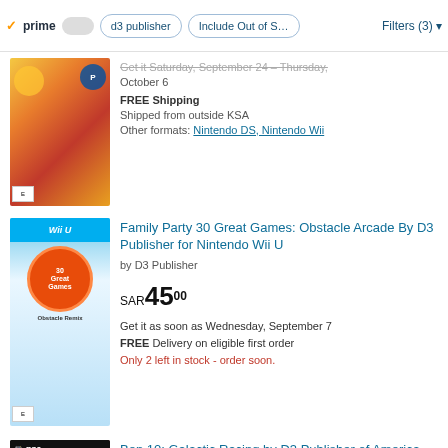prime  d3 publisher  Include Out of S...  Filters (3)
[Figure (screenshot): Cartoon action game cover art with colorful characters]
Get it Saturday, September 24 - Thursday, October 6
FREE Shipping
Shipped from outside KSA
Other formats: Nintendo DS, Nintendo Wii
[Figure (screenshot): Wii U game cover for Family Party 30 Great Games Obstacle Arcade]
Family Party 30 Great Games: Obstacle Arcade By D3 Publisher for Nintendo Wii U
by D3 Publisher
SAR45.00
Get it as soon as Wednesday, September 7
FREE Delivery on eligible first order
Only 2 left in stock - order soon.
[Figure (screenshot): PS3 game cover for Ben 10 Galactic Racing]
Ben 10: Galactic Racing by D3 Publisher of America (2011) - PlayStation 3
by D3 Publisher